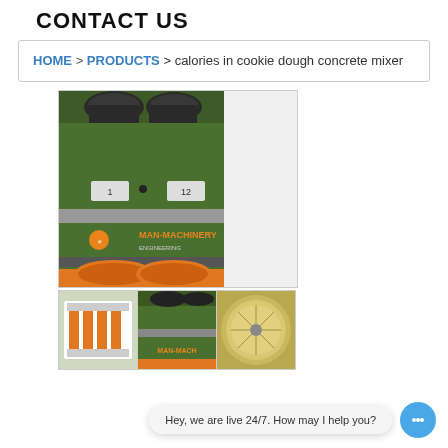CONTACT US
HOME > PRODUCTS > calories in cookie dough concrete mixer
[Figure (photo): Industrial concrete mixer machine with green body, orange base, labeled MAN-MACHINERY, with twin mixing drums visible]
[Figure (photo): Thumbnail of white industrial machinery panel]
[Figure (photo): Thumbnail of green industrial machine close-up]
[Figure (photo): Thumbnail of circular mixing drum overhead view]
Hey, we are live 24/7. How may I help you?